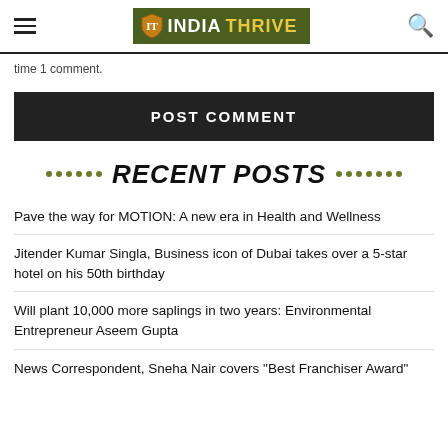INDIATHRIVE
time 1 comment.
POST COMMENT
RECENT POSTS
Pave the way for MOTION: A new era in Health and Wellness
Jitender Kumar Singla, Business icon of Dubai takes over a 5-star hotel on his 50th birthday
Will plant 10,000 more saplings in two years: Environmental Entrepreneur Aseem Gupta
News Correspondent, Sneha Nair covers "Best Franchiser Award"